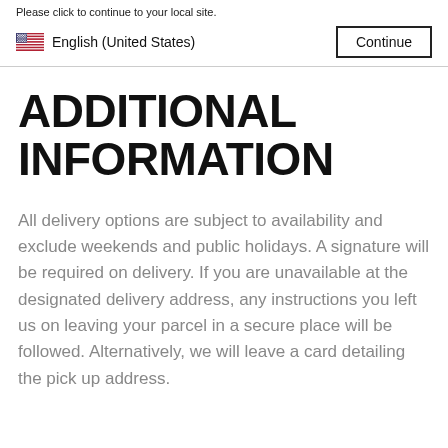Please click to continue to your local site.
English (United States)
ADDITIONAL INFORMATION
All delivery options are subject to availability and exclude weekends and public holidays. A signature will be required on delivery. If you are unavailable at the designated delivery address, any instructions you left us on leaving your parcel in a secure place will be followed. Alternatively, we will leave a card detailing the pick up address.